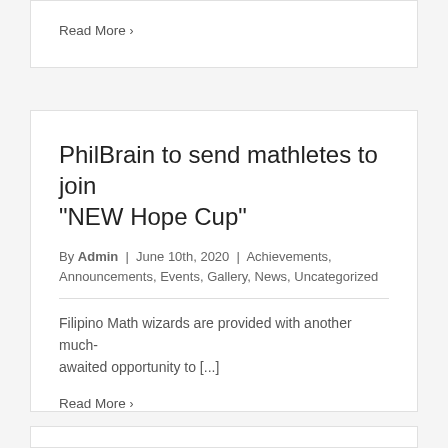Read More >
PhilBrain to send mathletes to join “NEW Hope Cup”
By Admin | June 10th, 2020 | Achievements, Announcements, Events, Gallery, News, Uncategorized
Filipino Math wizards are provided with another much-awaited opportunity to [...]
Read More >